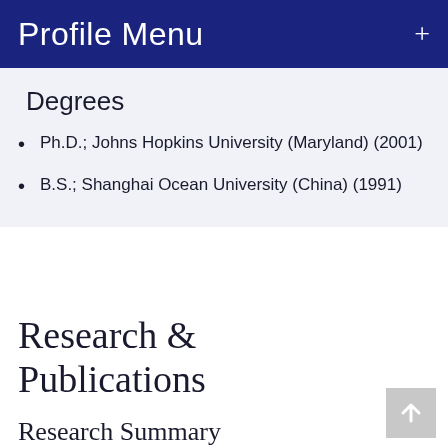Profile Menu
Degrees
Ph.D.; Johns Hopkins University (Maryland) (2001)
B.S.; Shanghai Ocean University (China) (1991)
Research & Publications
Research Summary